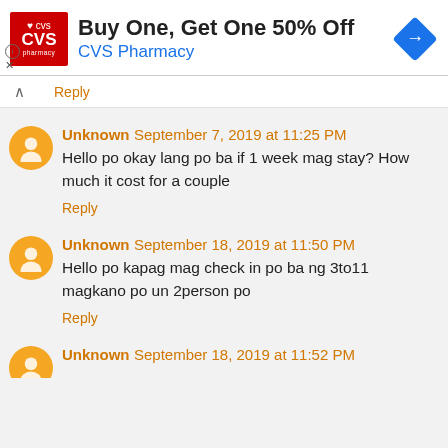[Figure (screenshot): CVS Pharmacy advertisement banner: Buy One, Get One 50% Off]
Reply
Unknown September 7, 2019 at 11:25 PM
Hello po okay lang po ba if 1 week mag stay? How much it cost for a couple
Reply
Unknown September 18, 2019 at 11:50 PM
Hello po kapag mag check in po ba ng 3to11 magkano po un 2person po
Reply
Unknown September 18, 2019 at 11:52 PM